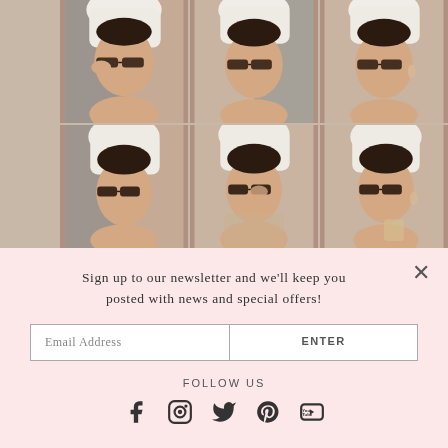[Figure (photo): 3x2 grid of six selfie photos of a young woman wearing small cat-eye sunglasses with a white towel on her head, posed in various angles]
Sign up to our newsletter and we'll keep you posted with news and special offers!
Email Address
ENTER
FOLLOW US